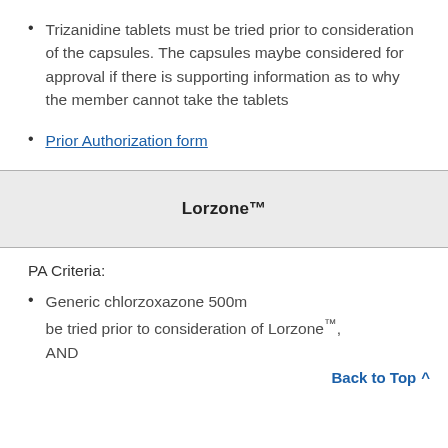Trizanidine tablets must be tried prior to consideration of the capsules. The capsules maybe considered for approval if there is supporting information as to why the member cannot take the tablets
Prior Authorization form
Lorzone™
PA Criteria:
Generic chlorzoxazone 500mg must be tried prior to consideration of Lorzone™, AND